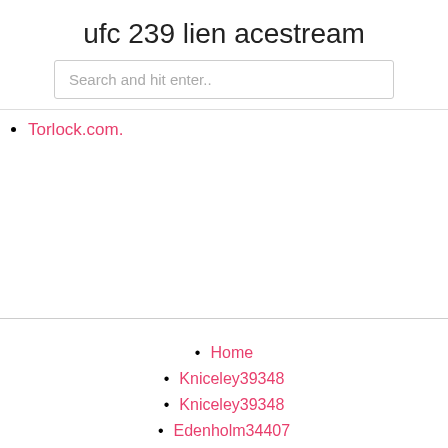ufc 239 lien acestream
Search and hit enter..
Torlock.com.
Home
Kniceley39348
Kniceley39348
Edenholm34407